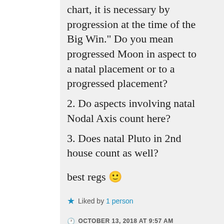chart, it is necessary by progression at the time of the Big Win." Do you mean progressed Moon in aspect to a natal placement or to a progressed placement?
2. Do aspects involving natal Nodal Axis count here?
3. Does natal Pluto in 2nd house count as well?
best regs 🙂
★ Liked by 1 person
OCTOBER 13, 2018 AT 9:57 AM